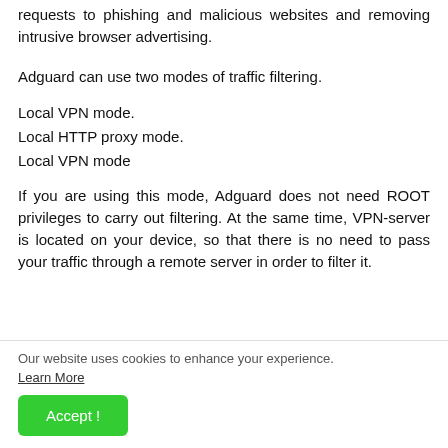requests to phishing and malicious websites and removing intrusive browser advertising.
Adguard can use two modes of traffic filtering.
Local VPN mode.
Local HTTP proxy mode.
Local VPN mode
If you are using this mode, Adguard does not need ROOT privileges to carry out filtering. At the same time, VPN-server is located on your device, so that there is no need to pass your traffic through a remote server in order to filter it.
Our website uses cookies to enhance your experience. Learn More
Accept !